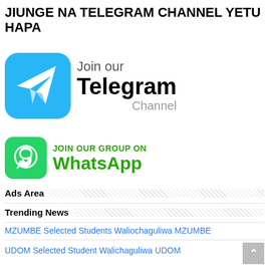JIUNGE NA TELEGRAM CHANNEL YETU HAPA
[Figure (logo): Telegram logo with blue rounded square background and white paper plane icon, with text 'Join our Telegram Channel' to the right]
[Figure (logo): WhatsApp logo with green rounded square background and white phone-in-bubble icon, with text 'JOIN OUR GROUP ON WhatsApp' to the right]
Ads Area
Trending News
MZUMBE Selected Students Waliochaguliwa MZUMBE
UDOM Selected Student Walichaguliwa UDOM